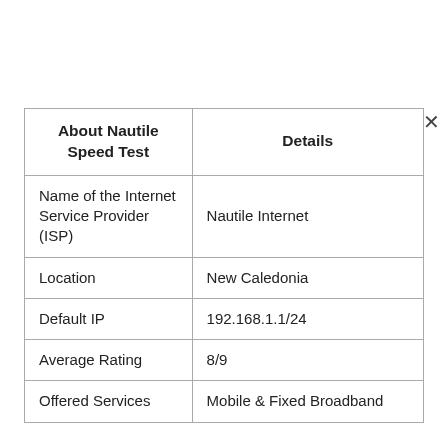| About Nautile Speed Test | Details |
| --- | --- |
| Name of the Internet Service Provider (ISP) | Nautile Internet |
| Location | New Caledonia |
| Default IP | 192.168.1.1/24 |
| Average Rating | 8/9 |
| Offered Services | Mobile & Fixed Broadband |